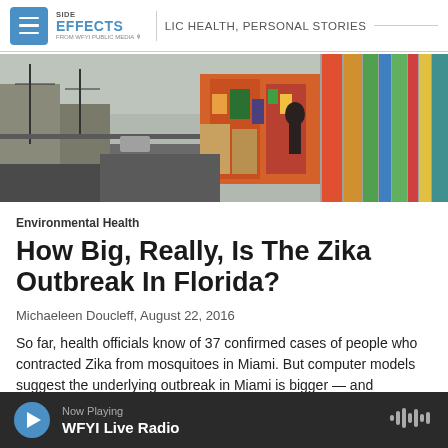SIDE EFFECTS — PUBLIC HEALTH, PERSONAL STORIES — FROM WFYI PUBLIC MEDIA
[Figure (photo): Street scene in Miami showing colorful murals on buildings with utility poles and a person walking]
Environmental Health
How Big, Really, Is The Zika Outbreak In Florida?
Michaeleen Doucleff,  August 22, 2016
So far, health officials know of 37 confirmed cases of people who contracted Zika from mosquitoes in Miami. But computer models suggest the underlying outbreak in Miami is bigger — and spreading
Now Playing — WFYI Live Radio